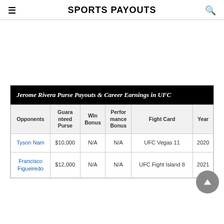SPORTS PAYOUTS
| Opponents | Guaranteed Purse | Win Bonus | Performance Bonus | Fight Card | Year |
| --- | --- | --- | --- | --- | --- |
| Tyson Nam | $10,000 | N/A | N/A | UFC Vegas 11 | 2020 |
| Francisco Figueiredo | $12,000 | N/A | N/A | UFC Fight Island 8 | 2021 |